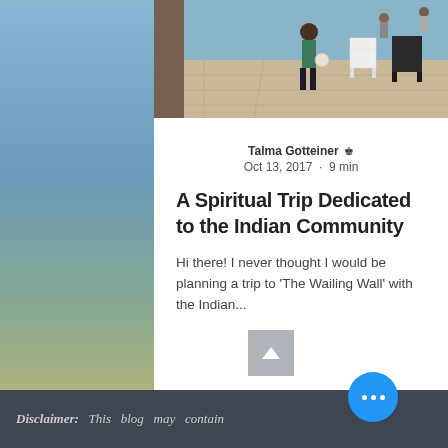[Figure (photo): Person standing on stone plaza/courtyard with chairs, outdoor setting, blue sky]
Talma Gotteiner 👑
Oct 13, 2017 · 9 min
A Spiritual Trip Dedicated to the Indian Community
Hi there! I never thought I would be planning a trip to 'The Wailing Wall' with the Indian...
Disclaimer: This blog may contain